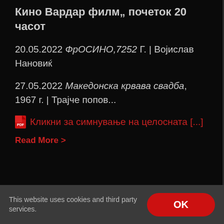Кино Вардар филм„ почеток 20 часот
20.05.2022 ФрОСИНО,7252 Г. | Војислав Нановиќ
27.05.2022 Македонска крвава свадба, 1967 г. | Трајче попов...
Кликни за симнување на целосната [...]
Read More >
This website uses cookies and third party services.